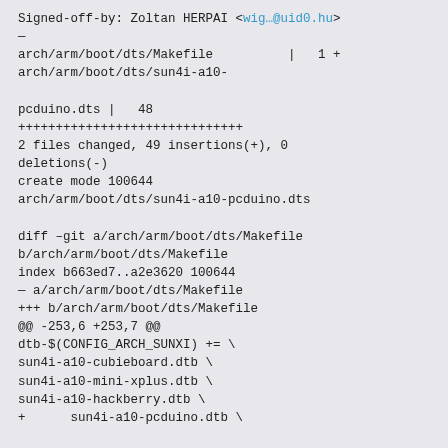Signed-off-by: Zoltan HERPAI <wig…@uid0.hu>
—
arch/arm/boot/dts/Makefile          |   1 +
arch/arm/boot/dts/sun4i-a10-

pcduino.dts |   48
++++++++++++++++++++++++++++++
2 files changed, 49 insertions(+), 0
deletions(-)
create mode 100644
arch/arm/boot/dts/sun4i-a10-pcduino.dts

diff --git a/arch/arm/boot/dts/Makefile
b/arch/arm/boot/dts/Makefile
index b663ed7..a2e3620 100644
— a/arch/arm/boot/dts/Makefile
+++ b/arch/arm/boot/dts/Makefile
@@ -253,6 +253,7 @@
dtb-$(CONFIG_ARCH_SUNXI) += \
sun4i-a10-cubieboard.dtb \
sun4i-a10-mini-xplus.dtb \
sun4i-a10-hackberry.dtb \
+      sun4i-a10-pcduino.dtb \